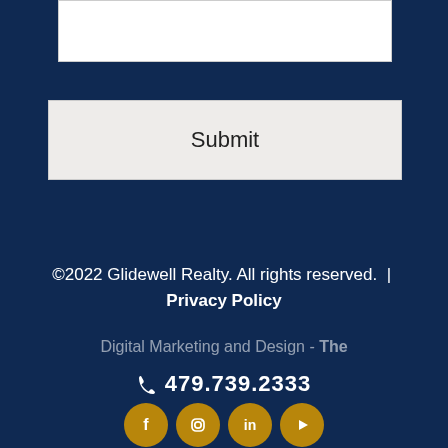[Figure (screenshot): White input text box (partially visible at top)]
Submit
©2022 Glidewell Realty. All rights reserved. | Privacy Policy
Digital Marketing and Design - The
479.739.2333
[Figure (other): Social media icons: Facebook, Instagram, LinkedIn, YouTube — gold circles]